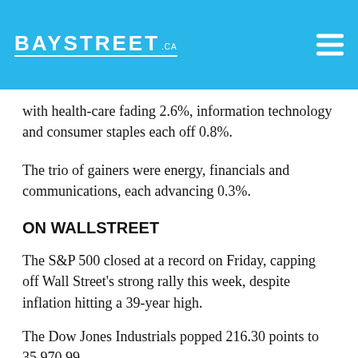BAYSTREET .ca
with health-care fading 2.6%, information technology and consumer staples each off 0.8%.
The trio of gainers were energy, financials and communications, each advancing 0.3%.
ON WALLSTREET
The S&P 500 closed at a record on Friday, capping off Wall Street's strong rally this week, despite inflation hitting a 39-year high.
The Dow Jones Industrials popped 216.30 points to 35,970.99
The S&P 500 index 44.57 points, or 1%, to 4,712.02, to